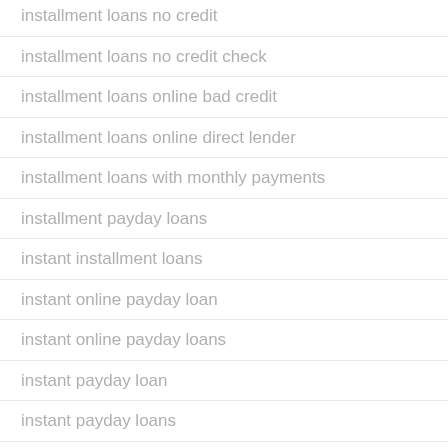installment loans no credit
installment loans no credit check
installment loans online bad credit
installment loans online direct lender
installment loans with monthly payments
installment payday loans
instant installment loans
instant online payday loan
instant online payday loans
instant payday loan
instant payday loans
instant payday loans online
instant title loan
instanthookups Estado en linea